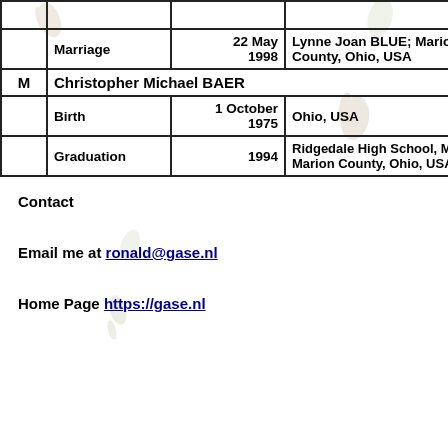|  | Event | Date | Place/Details |
| --- | --- | --- | --- |
|  |  |  |  |
|  | Marriage | 22 May 1998 | Lynne Joan BLUE; Marion County, Ohio, USA |
| M | Christopher Michael BAER |  |  |
|  | Birth | 1 October 1975 | Ohio, USA |
|  | Graduation | 1994 | Ridgedale High School, Morral, Marion County, Ohio, USA |
Contact
Email me at ronald@gase.nl
Home Page https://gase.nl